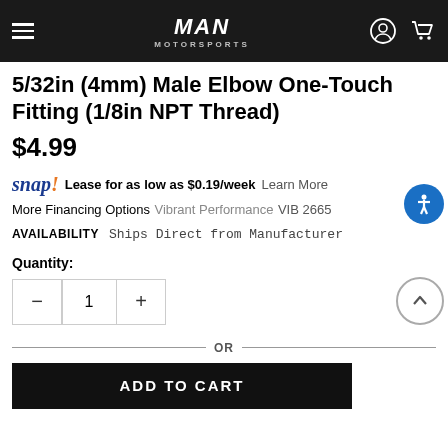MAN Motorsports
5/32in (4mm) Male Elbow One-Touch Fitting (1/8in NPT Thread)
$4.99
snap! Lease for as low as $0.19/week Learn More
More Financing Options
Vibrant Performance
VIB 2665
AVAILABILITY   Ships Direct from Manufacturer
Quantity:
OR
ADD TO CART